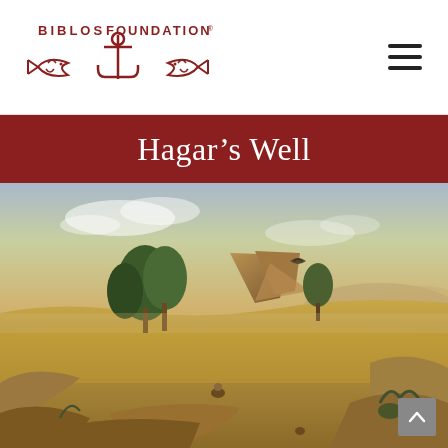Biblos Foundation
Hagar's Well
[Figure (illustration): Classical landscape painting showing an arid, rocky desert terrain with sparse trees, large rock formations, a wide open plain receding to distant mountains under a partly cloudy sky. A bird flies in the middle distance; a small human figure sits among rocks in the lower center. The palette is warm golden-brown and muted greens.]